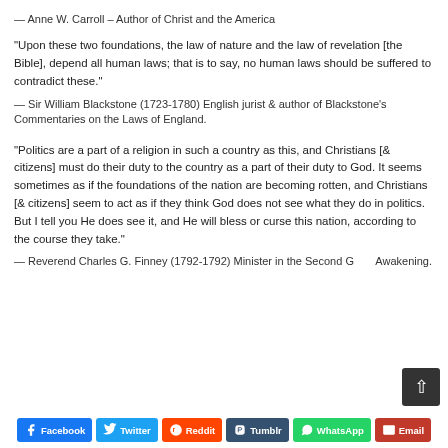— Anne W. Carroll – Author of Christ and the America
"Upon these two foundations, the law of nature and the law of revelation [the Bible], depend all human laws; that is to say, no human laws should be suffered to contradict these."
— Sir William Blackstone (1723-1780) English jurist & author of Blackstone's Commentaries on the Laws of England.
"Politics are a part of a religion in such a country as this, and Christians [& citizens] must do their duty to the country as a part of their duty to God. It seems sometimes as if the foundations of the nation are becoming rotten, and Christians [& citizens] seem to act as if they think God does not see what they do in politics. But I tell you He does see it, and He will bless or curse this nation, according to the course they take."
— Reverend Charles G. Finney (1792-1792) Minister in the Second G... Awakening.